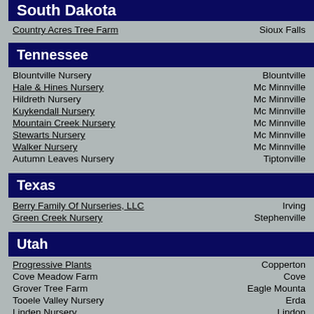South Dakota
Country Acres Tree Farm — Sioux Falls
Tennessee
Blountville Nursery — Blountville
Hale & Hines Nursery — Mc Minnville
Hildreth Nursery — Mc Minnville
Kuykendall Nursery — Mc Minnville
Mountain Creek Nursery — Mc Minnville
Stewarts Nursery — Mc Minnville
Walker Nursery — Mc Minnville
Autumn Leaves Nursery — Tiptonville
Texas
Berry Family Of Nurseries, LLC — Irving
Green Creek Nursery — Stephenville
Utah
Progressive Plants — Copperton
Cove Meadow Farm — Cove
Grover Tree Farm — Eagle Mountain
Tooele Valley Nursery — Erda
Linden Nursery — Lindon
Zollinger Fruit & Tree Farm Inc — Logan
Valley Nursery Inc — Ogden
Cooks Farm & Greenhouse — Orem
Valley Nursery Inc — Uintah